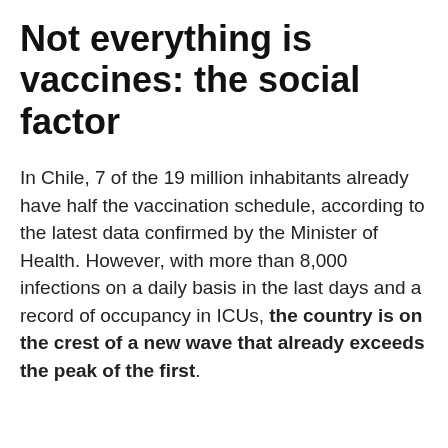Not everything is vaccines: the social factor
In Chile, 7 of the 19 million inhabitants already have half the vaccination schedule, according to the latest data confirmed by the Minister of Health. However, with more than 8,000 infections on a daily basis in the last days and a record of occupancy in ICUs, the country is on the crest of a new wave that already exceeds the peak of the first.